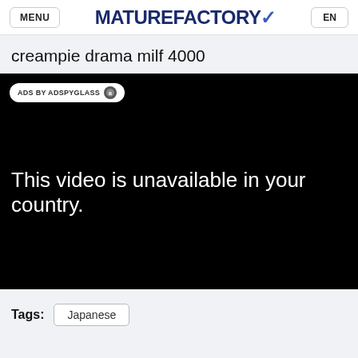MENU | MATUREFACTORY | EN
creampie drama milf 4000
[Figure (screenshot): Black video player with 'ADS BY ADSPYGLASS' badge at top-left and message 'This video is unavailable in your country.' in white text]
Tags: Japanese